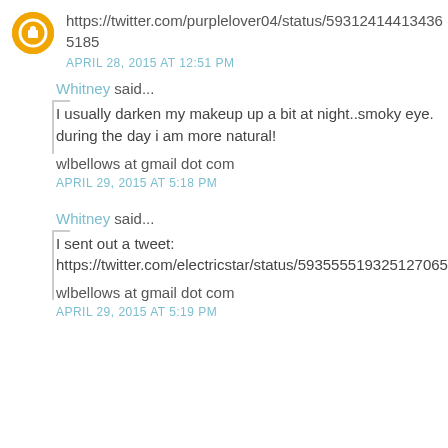https://twitter.com/purplelover04/status/593124144134365185
APRIL 28, 2015 AT 12:51 PM
Whitney said...
I usually darken my makeup up a bit at night..smoky eye. during the day i am more natural!
wlbellows at gmail dot com
APRIL 29, 2015 AT 5:18 PM
Whitney said...
I sent out a tweet: https://twitter.com/electricstar/status/59355551932512706 56
wlbellows at gmail dot com
APRIL 29, 2015 AT 5:19 PM